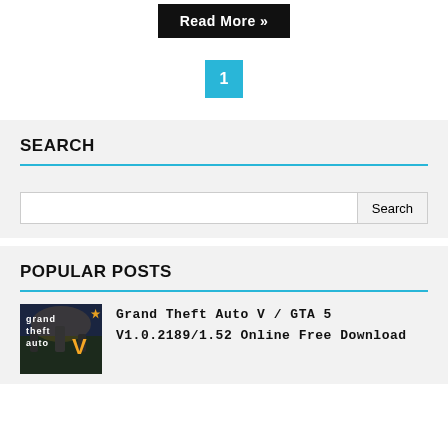Read More »
1
SEARCH
[Figure (other): Search input field with Search button]
POPULAR POSTS
[Figure (photo): Grand Theft Auto V game cover thumbnail]
Grand Theft Auto V / GTA 5 V1.0.2189/1.52 Online Free Download